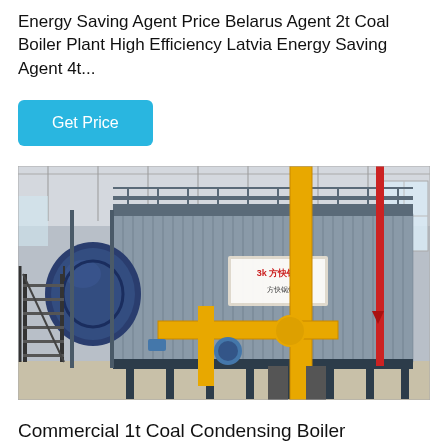Energy Saving Agent Price Belarus Agent 2t Coal Boiler Plant High Efficiency Latvia Energy Saving Agent 4t...
[Figure (photo): Industrial coal boiler plant in a factory/warehouse setting. Large cylindrical blue boiler drum on the left with a metal staircase, connected to a large rectangular corrugated metal casing unit. Yellow pipes and fittings visible in the foreground and right side. A red pipe is visible on the far right. A red and white logo/sign is on the casing. The floor is concrete, ceiling is high with industrial trusses.]
Commercial 1t Coal Condensing Boiler